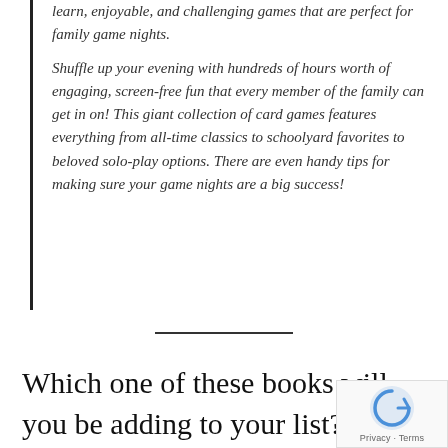learn, enjoyable, and challenging games that are perfect for family game nights.

Shuffle up your evening with hundreds of hours worth of engaging, screen-free fun that every member of the family can get in on! This giant collection of card games features everything from all-time classics to schoolyard favorites to beloved solo-play options. There are even handy tips for making sure your game nights are a big success!
Which one of these books will you be adding to your list?